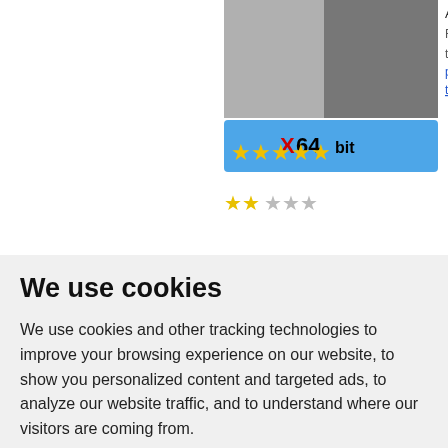[Figure (screenshot): Partial top section of a software listing page showing an app screenshot, X64bit badge with 5 stars, user rating stars, and description text with tags including 'free visual html edi...', 'page tool', 'dreamweaver tool']
We use cookies
We use cookies and other tracking technologies to improve your browsing experience on our website, to show you personalized content and targeted ads, to analyze our website traffic, and to understand where our visitors are coming from.
I agree | Change my preferences